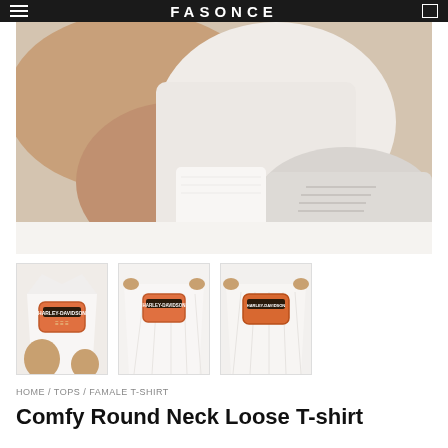FASONCE
[Figure (photo): Fashion product photo showing a person's legs and feet wearing white sneakers and white socks, with a white oversized Harley-Davidson t-shirt, sitting on a white surface]
[Figure (photo): Three thumbnail product images of a white Harley-Davidson graphic t-shirt being held out to show the front logo print]
HOME / TOPS / FAMALE T-SHIRT
Comfy Round Neck Loose T-shirt